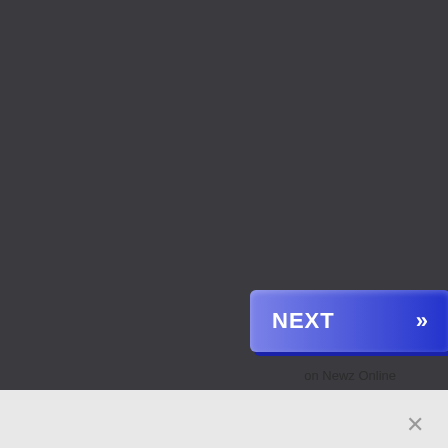[Figure (screenshot): A blue gradient NEXT button with double right-arrow chevron (»), styled with a 3D shadow effect on a dark grey background.]
on Newz Online
Archives
Select Month ✓